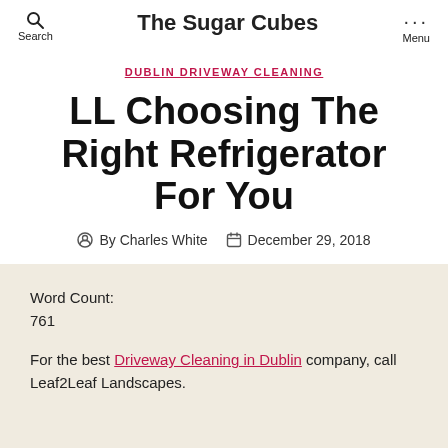Search | The Sugar Cubes | Menu
DUBLIN DRIVEWAY CLEANING
LL Choosing The Right Refrigerator For You
By Charles White   December 29, 2018
Word Count:
761
For the best Driveway Cleaning in Dublin company, call Leaf2Leaf Landscapes.